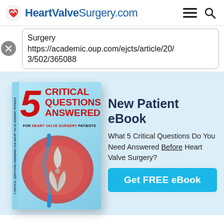HeartValveSurgery.com
Surgery
https://academic.oup.com/ejcts/article/20/3/502/365088
[Figure (illustration): Book cover for '5 Critical Questions Answered For Heart Valve Surgery Patients' eBook with anatomical heart valve illustration]
New Patient eBook
What 5 Critical Questions Do You Need Answered Before Heart Valve Surgery?
Get FREE eBook